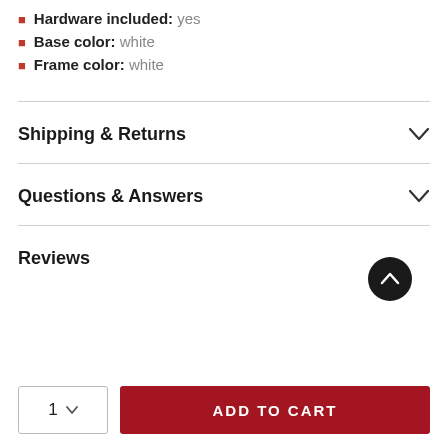Hardware included: yes
Base color: white
Frame color: white
Shipping & Returns
Questions & Answers
Reviews